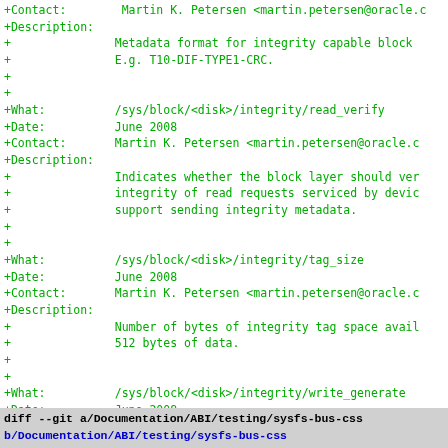+Contact:        Martin K. Petersen <martin.petersen@oracle.c
+Description:
+                Metadata format for integrity capable block
+                E.g. T10-DIF-TYPE1-CRC.
+
+
+What:           /sys/block/<disk>/integrity/read_verify
+Date:           June 2008
+Contact:        Martin K. Petersen <martin.petersen@oracle.c
+Description:
+                Indicates whether the block layer should ver
+                integrity of read requests serviced by devic
+                support sending integrity metadata.
+
+
+What:           /sys/block/<disk>/integrity/tag_size
+Date:           June 2008
+Contact:        Martin K. Petersen <martin.petersen@oracle.c
+Description:
+                Number of bytes of integrity tag space avail
+                512 bytes of data.
+
+
+What:           /sys/block/<disk>/integrity/write_generate
+Date:           June 2008
+Contact:        Martin K. Petersen <martin.petersen@oracle.c
+Description:
+                Indicates whether the block layer should aut
+                generate checksums for write requests bound
+                devices that support receiving integrity met
diff --git a/Documentation/ABI/testing/sysfs-bus-css
b/Documentation/ABI/testing/sysfs-bus-css